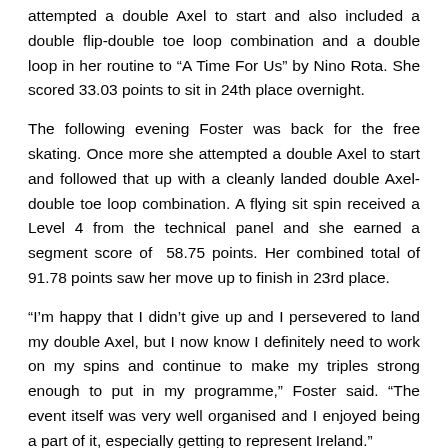attempted a double Axel to start and also included a double flip-double toe loop combination and a double loop in her routine to “A Time For Us” by Nino Rota. She scored 33.03 points to sit in 24th place overnight.
The following evening Foster was back for the free skating. Once more she attempted a double Axel to start and followed that up with a cleanly landed double Axel-double toe loop combination. A flying sit spin received a Level 4 from the technical panel and she earned a segment score of 58.75 points. Her combined total of 91.78 points saw her move up to finish in 23rd place.
“I’m happy that I didn’t give up and I persevered to land my double Axel, but I now know I definitely need to work on my spins and continue to make my triples strong enough to put in my programme,” Foster said. “The event itself was very well organised and I enjoyed being a part of it, especially getting to represent Ireland.”